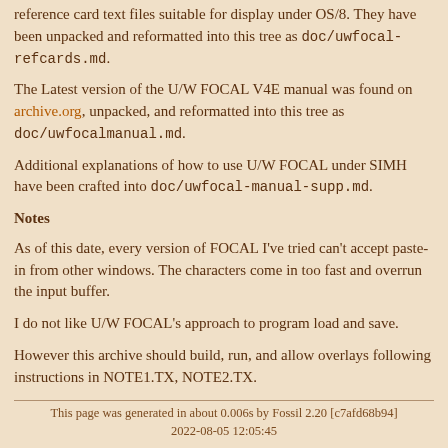reference card text files suitable for display under OS/8. They have been unpacked and reformatted into this tree as doc/uwfocal-refcards.md.
The Latest version of the U/W FOCAL V4E manual was found on archive.org, unpacked, and reformatted into this tree as doc/uwfocalmanual.md.
Additional explanations of how to use U/W FOCAL under SIMH have been crafted into doc/uwfocal-manual-supp.md.
Notes
As of this date, every version of FOCAL I've tried can't accept paste-in from other windows. The characters come in too fast and overrun the input buffer.
I do not like U/W FOCAL's approach to program load and save.
However this archive should build, run, and allow overlays following instructions in NOTE1.TX, NOTE2.TX.
This page was generated in about 0.006s by Fossil 2.20 [c7afd68b94] 2022-08-05 12:05:45